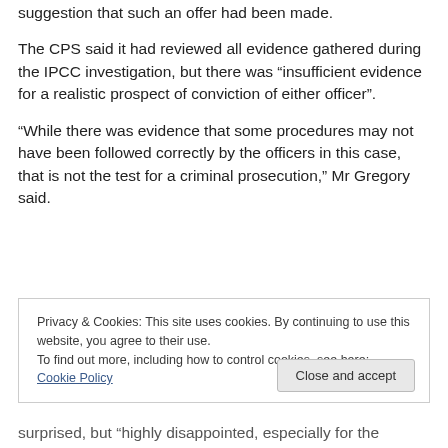suggestion that such an offer had been made.
The CPS said it had reviewed all evidence gathered during the IPCC investigation, but there was “insufficient evidence for a realistic prospect of conviction of either officer”.
“While there was evidence that some procedures may not have been followed correctly by the officers in this case, that is not the test for a criminal prosecution,” Mr Gregory said.
Privacy & Cookies: This site uses cookies. By continuing to use this website, you agree to their use.
To find out more, including how to control cookies, see here: Cookie Policy
Close and accept
surprised, but “highly disappointed, especially for the